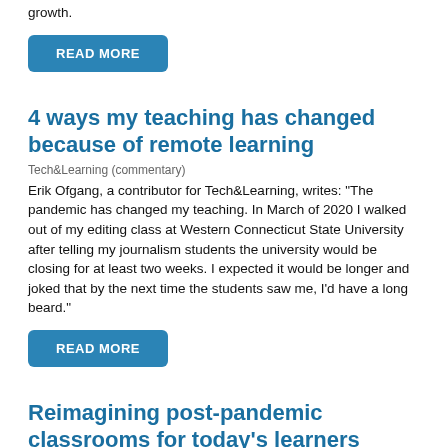growth.
READ MORE
4 ways my teaching has changed because of remote learning
Tech&Learning (commentary)
Erik Ofgang, a contributor for Tech&Learning, writes: "The pandemic has changed my teaching. In March of 2020 I walked out of my editing class at Western Connecticut State University after telling my journalism students the university would be closing for at least two weeks. I expected it would be longer and joked that by the next time the students saw me, I'd have a long beard."
READ MORE
Reimagining post-pandemic classrooms for today's learners
EdTech Magazine
There's no denying that the pandemic upended education this past